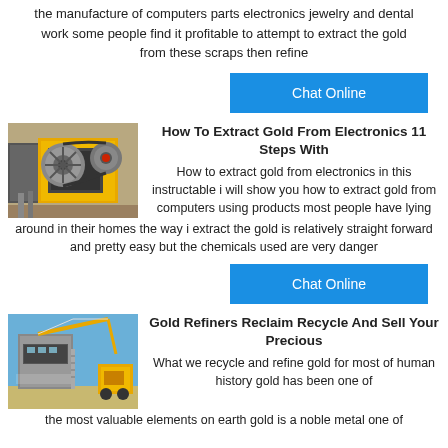the manufacture of computers parts electronics jewelry and dental work some people find it profitable to attempt to extract the gold from these scraps then refine
[Figure (other): Yellow industrial jaw crusher machine with large pulleys]
How To Extract Gold From Electronics 11 Steps With
How to extract gold from electronics in this instructable i will show you how to extract gold from computers using products most people have lying around in their homes the way i extract the gold is relatively straight forward and pretty easy but the chemicals used are very danger
[Figure (other): Industrial mining or construction equipment at an outdoor site with blue sky]
Gold Refiners Reclaim Recycle And Sell Your Precious
What we recycle and refine gold for most of human history gold has been one of the most valuable elements on earth gold is a noble metal one of